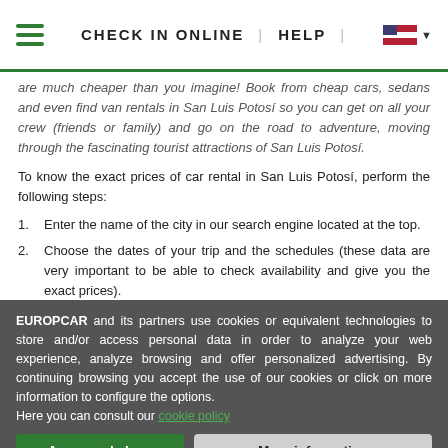CHECK IN ONLINE | HELP
are much cheaper than you imagine! Book from cheap cars, sedans and even find van rentals in San Luis Potosí so you can get on all your crew (friends or family) and go on the road to adventure, moving through the fascinating tourist attractions of San Luis Potosí.
To know the exact prices of car rental in San Luis Potosí, perform the following steps:
1. Enter the name of the city in our search engine located at the top.
2. Choose the dates of your trip and the schedules (these data are very important to be able to check availability and give you the exact prices).
EUROPCAR and its partners use cookies or equivalent technologies to store and/or access personal data in order to analyze your web experience, analyze browsing and offer personalized advertising. By continuing browsing you accept the use of our cookies or click on more information to configure the options.
Here you can consult our cookie policy
Agree and close
More information
Can I rent a car in San Luis Potosí with insurance included?
Quiet! At Europcar we know how important your trip is, so we offer you true mobility solutions, giving you real prices with insurance and taxes...